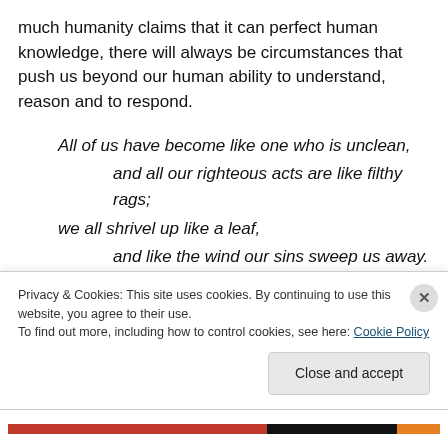much humanity claims that it can perfect human knowledge, there will always be circumstances that push us beyond our human ability to understand, reason and to respond.
All of us have become like one who is unclean, and all our righteous acts are like filthy rags; we all shrivel up like a leaf, and like the wind our sins sweep us away. (Isaiah 64:16 (NIV))
With this truth before us, the...
Privacy & Cookies: This site uses cookies. By continuing to use this website, you agree to their use.
To find out more, including how to control cookies, see here: Cookie Policy